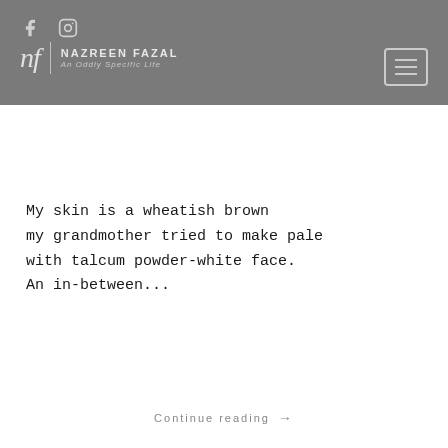f [instagram icon] | NAZREEN FAZAL An Oddly Specific Life [menu button]
My skin is a wheatish brown my grandmother tried to make pale with talcum powder-white face. An in-between...
Continue reading →